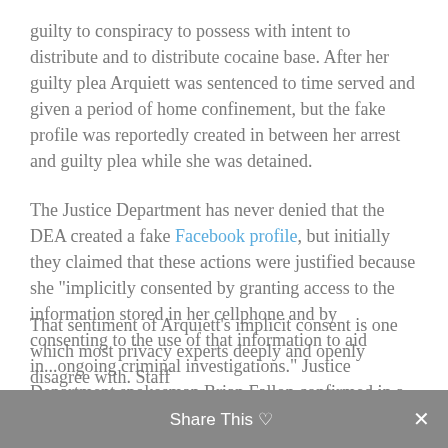guilty to conspiracy to possess with intent to distribute and to distribute cocaine base. After her guilty plea Arquiett was sentenced to time served and given a period of home confinement, but the fake profile was reportedly created in between her arrest and guilty plea while she was detained.
The Justice Department has never denied that the DEA created a fake Facebook profile, but initially they claimed that these actions were justified because she "implicitly consented by granting access to the information stored in her cellphone and by consenting to the use of that information to aid in...ongoing criminal investigations." Justice Department spokesman Brian Fallon confirmed in a statement two weeks ago that the incident is under review.
Fighting for Facebook Rights
That sentiment of Arquiett's implicit consent is one which most privacy experts deeply and openly disagree with. Staff
Share This ♡  ✕